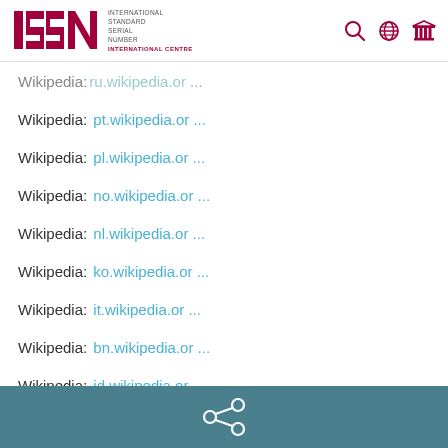[Figure (logo): ISSN International Standard Serial Number International Centre logo with search, globe, and building navigation icons]
Wikipedia: ru.wikipedia.or ...
Wikipedia: pt.wikipedia.or ...
Wikipedia: pl.wikipedia.or ...
Wikipedia: no.wikipedia.or ...
Wikipedia: nl.wikipedia.or ...
Wikipedia: ko.wikipedia.or ...
Wikipedia: it.wikipedia.or ...
Wikipedia: bn.wikipedia.or ...
Wikipedia: id.wikipedia.or ...
Wikipedia: he.wikipedia.or ...
Wikipedia: fr.wikipedia.or ...
[Figure (other): Share icon (network share symbol) on teal background footer bar]